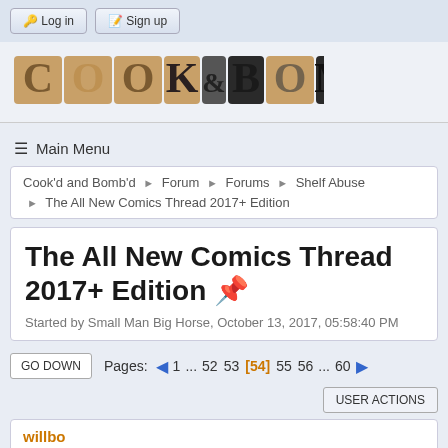Log in  Sign up
[Figure (logo): Cookd and Bombd logo with large stylized text and photo-letter collage]
≡ Main Menu
Cook'd and Bomb'd ▶ Forum ▶ Forums ▶ Shelf Abuse ▶ The All New Comics Thread 2017+ Edition
The All New Comics Thread 2017+ Edition 📌
Started by Small Man Big Horse, October 13, 2017, 05:58:40 PM
GO DOWN  Pages: ◀ 1 ... 52 53 [54] 55 56 ... 60 ▶
USER ACTIONS
willbo